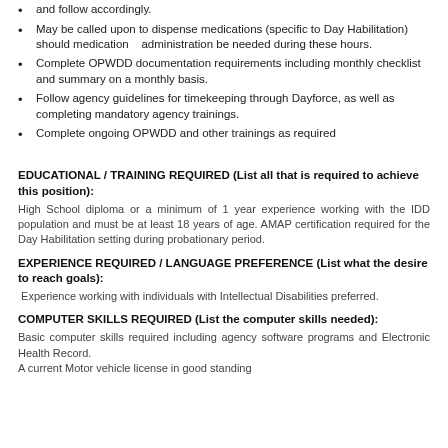and follow accordingly.
May be called upon to dispense medications (specific to Day Habilitation) should medication    administration be needed during these hours.
Complete OPWDD documentation requirements including monthly checklist and summary on a monthly basis.
Follow agency guidelines for timekeeping through Dayforce, as well as completing mandatory agency trainings.
Complete ongoing OPWDD and other trainings as required
EDUCATIONAL / TRAINING REQUIRED (List all that is required to achieve this position):
High School diploma or a minimum of 1 year experience working with the IDD population and must be at least 18 years of age. AMAP certification required for the Day Habilitation setting during probationary period.
EXPERIENCE REQUIRED / LANGUAGE PREFERENCE (List what the desire to reach goals):
Experience working with individuals with Intellectual Disabilities preferred.
COMPUTER SKILLS REQUIRED (List the computer skills needed):
Basic computer skills required including agency software programs and Electronic Health Record.
A current Motor vehicle license in good standing